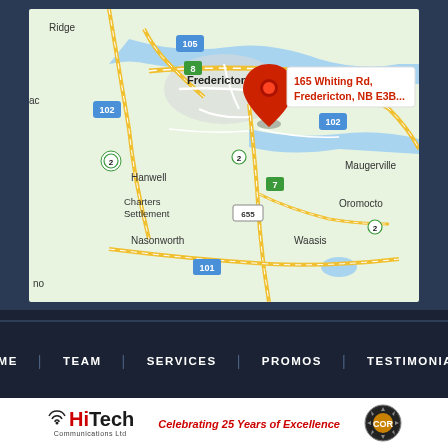[Figure (map): Google Maps showing location pin at 165 Whiting Rd, Fredericton, NB E3B... with surrounding area including Hanwell, Charters Settlement, Nasonworth, Waasis, Maugerville, Oromocto, and Noonan. Highway numbers 102, 105, 101, 7, 655, 8 are visible.]
HOME    TEAM    SERVICES    PROMOS    TESTIMONIALS
[Figure (logo): HiTech Communications Ltd logo with wifi symbol, text 'Celebrating 25 Years of Excellence' in red italic, and COR certification badge]
Celebrating 25 Years of Excellence